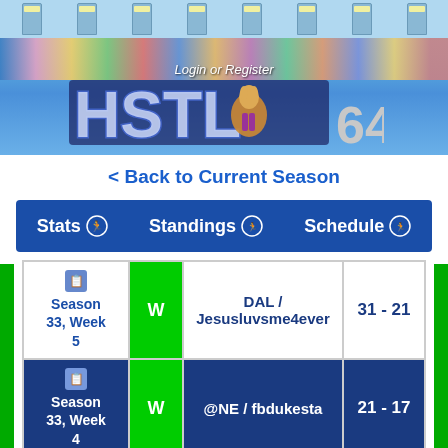[Figure (screenshot): HSTL 64 website header banner with stadium background, crowd, and animated mascot logo]
Login or Register
< Back to Current Season
Stats   Standings   Schedule
| Week | Result | Opponent | Score |
| --- | --- | --- | --- |
| Season 33, Week 5 | W | DAL / Jesusluvsme4ever | 31 - 21 |
| Season 33, Week 4 | W | @NE / fbdukesta | 21 - 17 |
| Season 33, Week 3 | W | NYJ / bradbears81 | 28 - 0 |